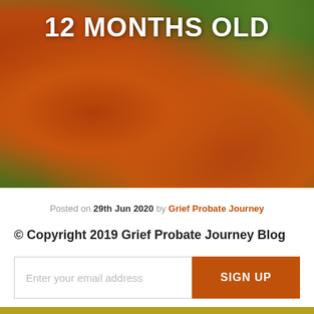[Figure (photo): Close-up photo of orange nasturtium flowers with green leaves, with bold white text '12 MONTHS OLD' overlaid at top]
Posted on 29th Jun 2020 by Grief Probate Journey
© Copyright 2019 Grief Probate Journey Blog
June 2020
Enter your email address  SIGN UP